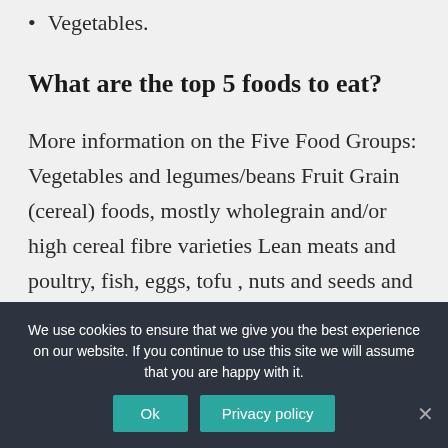Vegetables.
What are the top 5 foods to eat?
More information on the Five Food Groups: Vegetables and legumes/beans Fruit Grain (cereal) foods, mostly wholegrain and/or high cereal fibre varieties Lean meats and poultry, fish, eggs, tofu , nuts and seeds and legumes/beans Milk, yoghurt cheese and/or alternatives, mostly reduced fat
We use cookies to ensure that we give you the best experience on our website. If you continue to use this site we will assume that you are happy with it.